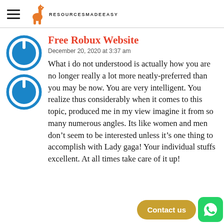RESOURCESMADEEASY
Free Robux Website
December 20, 2020 at 3:37 am
What i do not understood is actually how you are no longer really a lot more neatly-preferred than you may be now. You are very intelligent. You realize thus considerably when it comes to this topic, produced me in my view imagine it from so many numerous angles. Its like women and men don’t seem to be interested unless it’s one thing to accomplish with Lady gaga! Your individual stuffs excellent. At all times take care of it up!